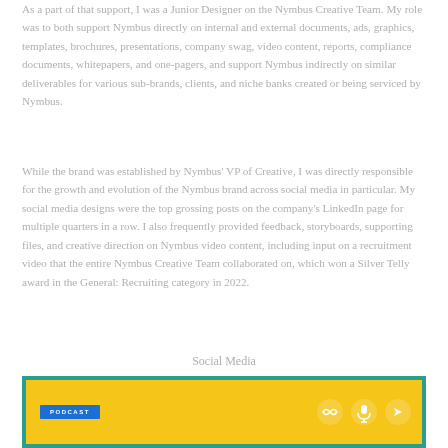As a part of that support, I was a Junior Designer on the Nymbus Creative Team. My role was to both support Nymbus directly on internal and external documents, ads, graphics, templates, brochures, presentations, company swag, video content, reports, compliance documents, whitepapers, and one-pagers, and support Nymbus indirectly on similar deliverables for various sub-brands, clients, and niche banks created or being serviced by Nymbus.
While the brand was established by Nymbus' VP of Creative, I was directly responsible for the growth and evolution of the Nymbus brand across social media in particular. My social media designs were the top grossing posts on the company's LinkedIn page for multiple quarters in a row. I also frequently provided feedback, storyboards, supporting files, and creative direction on Nymbus video content, including input on a recruitment video that the entire Nymbus Creative Team collaborated on, which won a Silver Telly award in the General: Recruiting category in 2022.
Social Media
[Figure (other): A yellow background image with a teal/green border. On the left is a blue 'PODCAST' button label. On the right are three logos/icons: Nymbus logo, microphone icon, and another brand icon, all in white on circular backgrounds.]